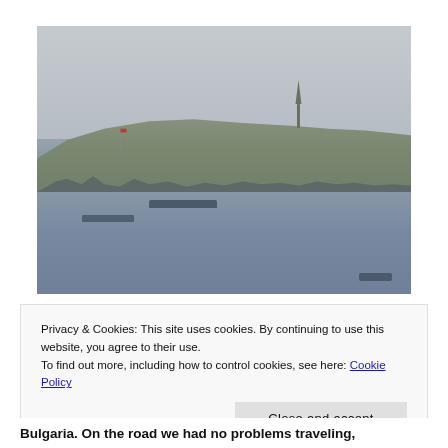[Figure (photo): A hazy waterfront scene showing a hillside city (likely Istanbul) with trees, buildings, a tower/minaret visible on the hilltop, boats on the water in the foreground, and an overcast grey sky.]
Privacy & Cookies: This site uses cookies. By continuing to use this website, you agree to their use.
To find out more, including how to control cookies, see here: Cookie Policy
Close and accept
Bulgaria. On the road we had no problems traveling,